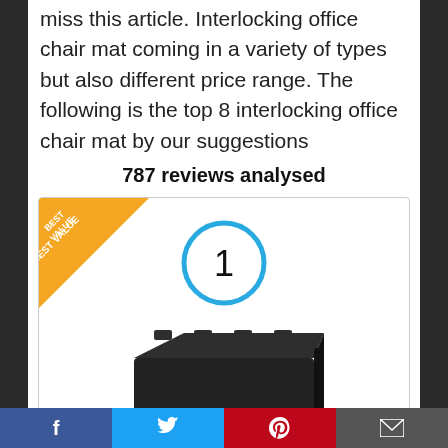miss this article. Interlocking office chair mat coming in a variety of types but also different price range. The following is the top 8 interlocking office chair mat by our suggestions
787 reviews analysed
[Figure (other): Product card with a 'BEST VALUE' diagonal badge in the top-left corner, a blue circle with the number 1 in the center-top area, and a photo of black interlocking foam floor mat tiles in the lower portion.]
Facebook | Twitter | Pinterest | Email